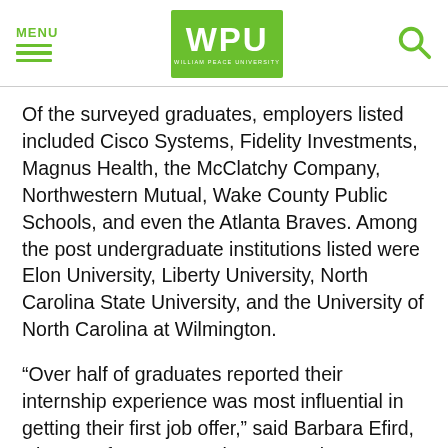MENU | WPU WILLIAM PEACE UNIVERSITY | [search icon]
Of the surveyed graduates, employers listed included Cisco Systems, Fidelity Investments, Magnus Health, the McClatchy Company, Northwestern Mutual, Wake County Public Schools, and even the Atlanta Braves. Among the post undergraduate institutions listed were Elon University, Liberty University, North Carolina State University, and the University of North Carolina at Wilmington.
“Over half of graduates reported their internship experience was most influential in getting their first job offer,” said Barbara Efird, Director of Career Services. “We also saw a 15 percent increase in starting salaries